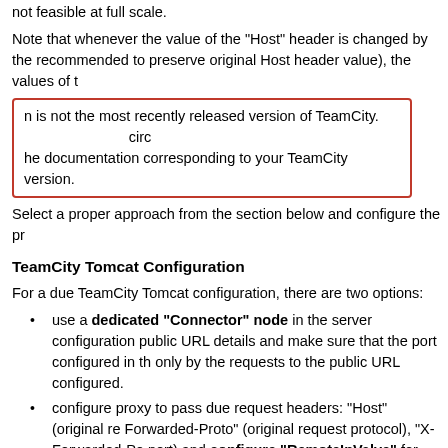not feasible at full scale.
Note that whenever the value of the "Host" header is changed by the recommended to preserve original Host header value), the values of t
n is not the most recently released version of TeamCity. he documentation corresponding to your TeamCity version.
Select a proper approach from the section below and configure the pr
TeamCity Tomcat Configuration
For a due TeamCity Tomcat configuration, there are two options:
use a dedicated "Connector" node in the server configuration public URL details and make sure that the port configured in th only by the requests to the public URL configured.
configure proxy to pass due request headers: "Host" (original r Forwarded-Proto" (original request protocol), "X-Forwarded-Po port) and configure "RemoteIpValve" for the TeamCity Tomca
Dedicated "Connector" Node Approach
This approach can be used with any proxy configuration, provided the receiving requests only to the configured public URL.